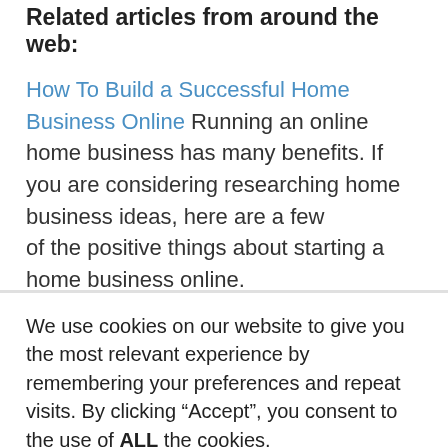Related articles from around the web:
How To Build a Successful Home Business Online Running an online home business has many benefits. If you are considering researching home business ideas, here are a few of the positive things about starting a home business online. Having a business from home online is a great thing. However, starting may not be that easy and can be very
We use cookies on our website to give you the most relevant experience by remembering your preferences and repeat visits. By clicking “Accept”, you consent to the use of ALL the cookies.
Do not sell my personal information.
Cookie Settings | Accept